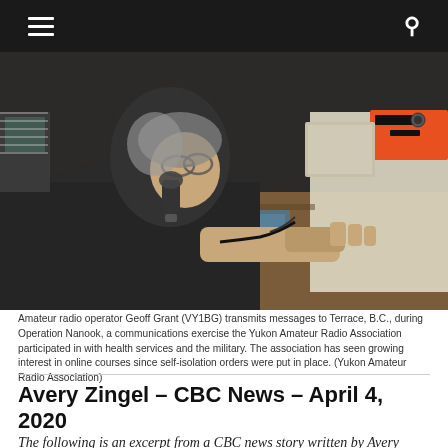≡  🔍
[Figure (photo): A man using a handheld radio microphone at an amateur radio station desk, with radio equipment and screens visible in the background.]
Amateur radio operator Geoff Grant (VY1BG) transmits messages to Terrace, B.C., during Operation Nanook, a communications exercise the Yukon Amateur Radio Association participated in with health services and the military. The association has seen growing interest in online courses since self-isolation orders were put in place. (Yukon Amateur Radio Association)
Avery Zingel – CBC News – April 4, 2020
The following is an excerpt from a CBC news story written by Avery Zingel on April 4, 2020 but you can find the complete article online at the link provided below. Thanks for writing a